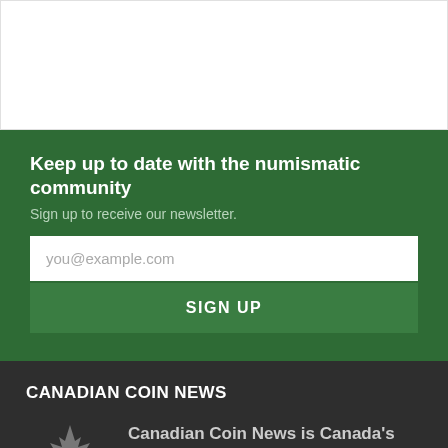[Figure (other): White content area at top of page]
Keep up to date with the numismatic community
Sign up to receive our newsletter.
you@example.com
SIGN UP
CANADIAN COIN NEWS
[Figure (logo): Grey maple leaf logo icon]
Canadian Coin News is Canada's premier source of information about coins, notes and medals.
Although we cover the entire world of numismatics, the